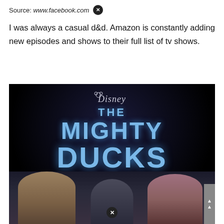Source: www.facebook.com
I was always a casual d&d. Amazon is constantly adding new episodes and shows to their full list of tv shows.
[Figure (photo): Promotional image for Disney's 'The Mighty Ducks: Game Changers' TV show, showing the Disney logo at top, the show title in blue metallic letters on a black background, and three cast members at the bottom including a man on the left, a person in a hockey helmet in the center, and a woman in a winter hat on the right.]